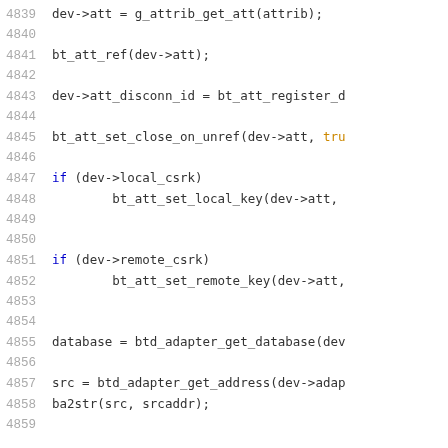4839    dev->att = g_attrib_get_att(attrib);
4840
4841    bt_att_ref(dev->att);
4842
4843    dev->att_disconn_id = bt_att_register_d
4844
4845    bt_att_set_close_on_unref(dev->att, tru
4846
4847    if (dev->local_csrk)
4848            bt_att_set_local_key(dev->att,
4849
4850
4851    if (dev->remote_csrk)
4852            bt_att_set_remote_key(dev->att,
4853
4854
4855    database = btd_adapter_get_database(dev
4856
4857    src = btd_adapter_get_address(dev->adap
4858    ba2str(src, srcaddr);
4859